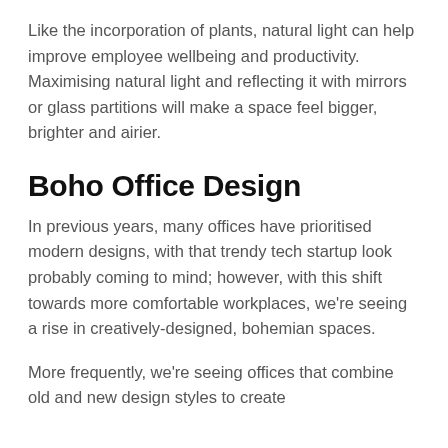Like the incorporation of plants, natural light can help improve employee wellbeing and productivity. Maximising natural light and reflecting it with mirrors or glass partitions will make a space feel bigger, brighter and airier.
Boho Office Design
In previous years, many offices have prioritised modern designs, with that trendy tech startup look probably coming to mind; however, with this shift towards more comfortable workplaces, we're seeing a rise in creatively-designed, bohemian spaces.
More frequently, we're seeing offices that combine old and new design styles to create